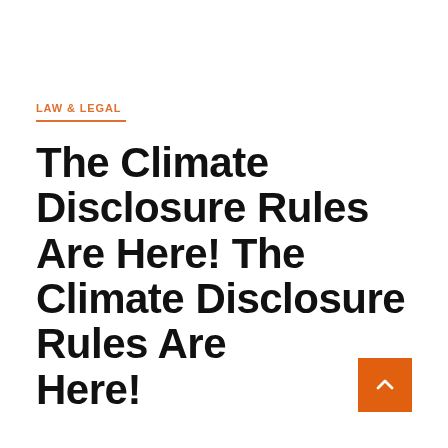LAW & LEGAL
The Climate Disclosure Rules Are Here! The Climate Disclosure Rules Are Here!